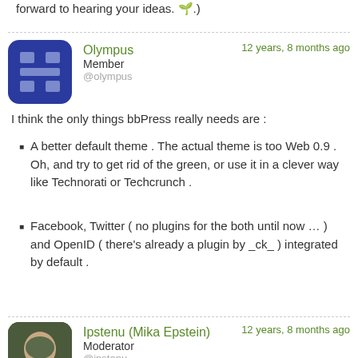forward to hearing your ideas. :)
Olympus
Member
@olympus
12 years, 8 months ago
I think the only things bbPress really needs are :
A better default theme . The actual theme is too Web 0.9 . Oh, and try to get rid of the green, or use it in a clever way like Technorati or Techcrunch .
Facebook, Twitter ( no plugins for the both until now … ) and OpenID ( there's already a plugin by _ck_ ) integrated by default .
Ipstenu (Mika Epstein)
Moderator
@ipstenu
12 years, 8 months ago